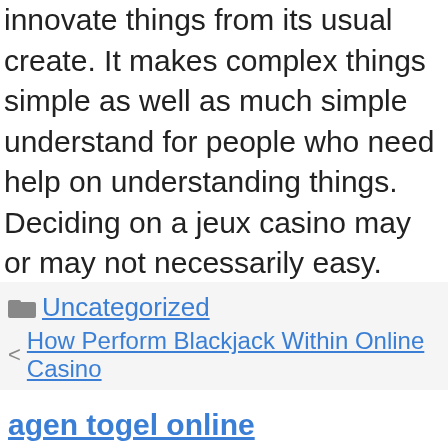innovate things from its usual create. It makes complex things simple as well as much simple understand for people who need help on understanding things. Deciding on a jeux casino may or may not necessarily easy. However, realizing its complexity and understanding attractiveness of its craft make it possible to say that every item has the risk of being meant for everyone.
Uncategorized
How Perform Blackjack Within Online Casino
Needle Felting Miniature Animals
agen togel online